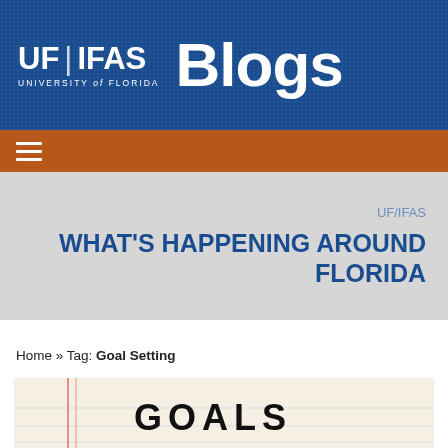UF|IFAS Blogs — University of Florida
[Figure (logo): UF/IFAS Blogs header banner with blue textured background showing UF|IFAS logo and 'Blogs' text in white]
[Figure (screenshot): Orange navigation bar with hamburger menu icon]
UF/IFAS WHAT'S HAPPENING AROUND FLORIDA
Home » Tag: Goal Setting
[Figure (photo): Notepad paper with 'GOALS' written in black marker, with red margin lines visible]